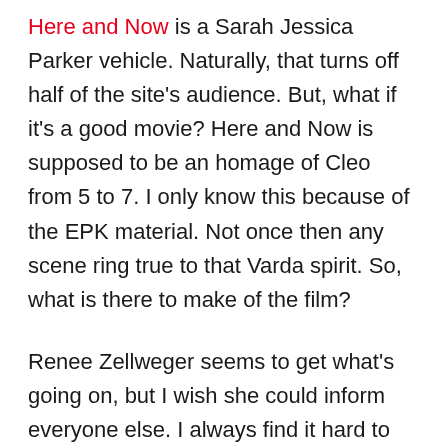Here and Now is a Sarah Jessica Parker vehicle. Naturally, that turns off half of the site's audience. But, what if it's a good movie? Here and Now is supposed to be an homage of Cleo from 5 to 7. I only know this because of the EPK material. Not once then any scene ring true to that Varda spirit. So, what is there to make of the film?
Renee Zellweger seems to get what's going on, but I wish she could inform everyone else. I always find it hard to sympathize with a character that only wants to improve upon the threat of death. Why did it take an overarching sense of finality to get you to care about your life? Ebenezer Scrooge ruined it for everyone. If you're looking for a strong female-centric movie, then see If Beale Street Could Talk. Time passes and you still have to see...